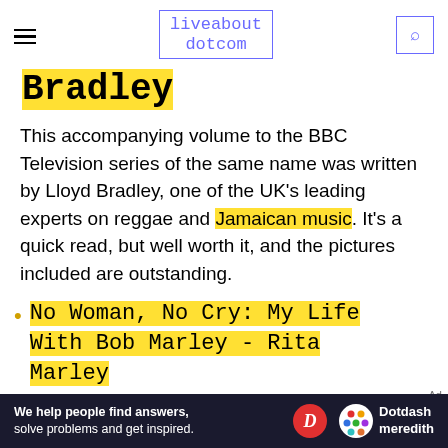liveabout dotcom
Bradley
This accompanying volume to the BBC Television series of the same name was written by Lloyd Bradley, one of the UK's leading experts on reggae and Jamaican music. It's a quick read, but well worth it, and the pictures included are outstanding.
No Woman, No Cry: My Life With Bob Marley - Rita Marley
Thi...
[Figure (other): Dotdash Meredith advertisement bar at the bottom of the page]